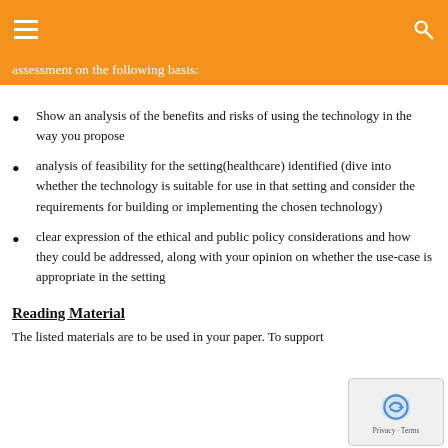assessment on the following basis:
Show an analysis of the benefits and risks of using the technology in the way you propose
analysis of feasibility for the setting(healthcare) identified (dive into whether the technology is suitable for use in that setting and consider the requirements for building or implementing the chosen technology)
clear expression of the ethical and public policy considerations and how they could be addressed, along with your opinion on whether the use-case is appropriate in the setting
Reading Material
The listed materials are to be used in your paper. To support